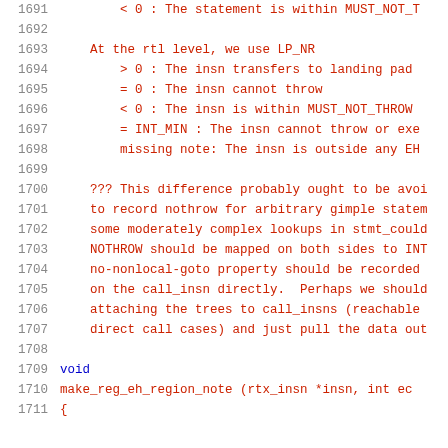1691    < 0 : The statement is within MUST_NOT_T
1692
1693    At the rtl level, we use LP_NR
1694        > 0 : The insn transfers to landing pad
1695        = 0 : The insn cannot throw
1696        < 0 : The insn is within MUST_NOT_THROW
1697        = INT_MIN : The insn cannot throw or exe
1698        missing note: The insn is outside any EH
1699
1700    ??? This difference probably ought to be avoi
1701    to record nothrow for arbitrary gimple statem
1702    some moderately complex lookups in stmt_could
1703    NOTHROW should be mapped on both sides to INT
1704    no-nonlocal-goto property should be recorded
1705    on the call_insn directly.  Perhaps we should
1706    attaching the trees to call_insns (reachable
1707    direct call cases) and just pull the data out
1708
1709 void
1710 make_reg_eh_region_note (rtx_insn *insn, int ec
1711 {